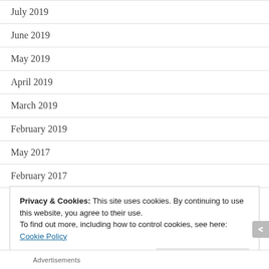July 2019
June 2019
May 2019
April 2019
March 2019
February 2019
May 2017
February 2017
Privacy & Cookies: This site uses cookies. By continuing to use this website, you agree to their use.
To find out more, including how to control cookies, see here:
Cookie Policy
Close and accept
Advertisements